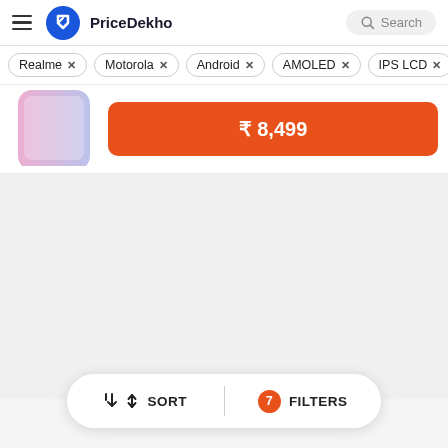PriceDekho | Search
Realme ×
Motorola ×
Android ×
AMOLED ×
IPS LCD ×
[Figure (photo): Partial phone image cropped at top]
₹8,499
↓↑ SORT   |   7 FILTERS